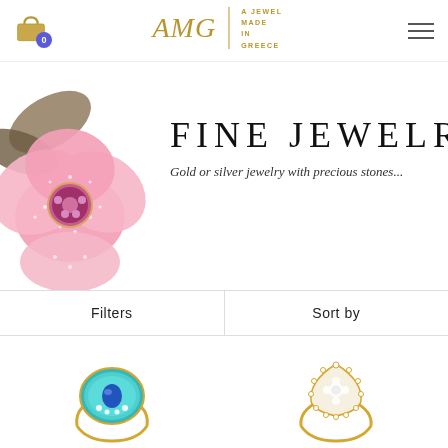AMG | A JEWEL MADE IN GREECE
[Figure (photo): Decorative floral jewelry brooch with pink flower, diamonds, and colored stones on the left side of the hero banner]
FINE JEWELRY
Gold or silver jewelry with precious stones...
Filters | Sort by
[Figure (photo): Gold ring with turquoise enamel and blue gemstone with diamond accents]
[Figure (photo): Gold ring with marquise shape diamond halo setting]